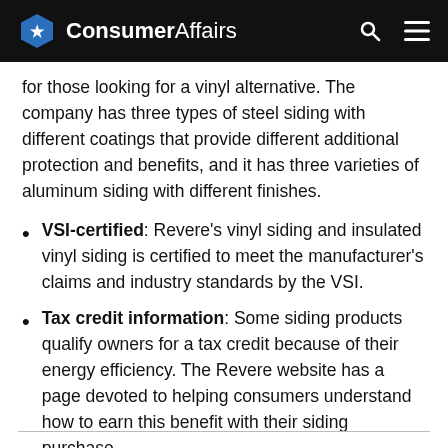ConsumerAffairs
for those looking for a vinyl alternative. The company has three types of steel siding with different coatings that provide different additional protection and benefits, and it has three varieties of aluminum siding with different finishes.
VSI-certified: Revere’s vinyl siding and insulated vinyl siding is certified to meet the manufacturer’s claims and industry standards by the VSI.
Tax credit information: Some siding products qualify owners for a tax credit because of their energy efficiency. The Revere website has a page devoted to helping consumers understand how to earn this benefit with their siding purchase.